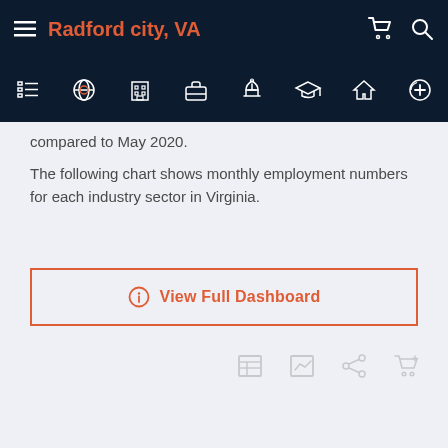Radford city, VA
compared to May 2020.
The following chart shows monthly employment numbers for each industry sector in Virginia.
[Figure (other): View Full Dashboard button with orange border and icon]
[Figure (other): Bottom toolbar icons: table, chart, share, cart]